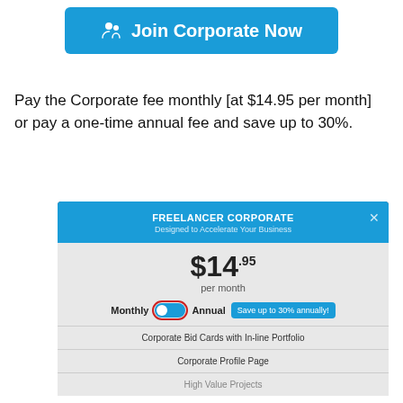[Figure (screenshot): Blue button labeled 'Join Corporate Now' with a people/user icon]
Pay the Corporate fee monthly [at $14.95 per month] or pay a one-time annual fee and save up to 30%.
[Figure (screenshot): Freelancer Corporate pricing dialog showing $14.95 per month, a toggle between Monthly and Annual with 'Save up to 30% annually!' callout, and features: Corporate Bid Cards with In-line Portfolio, Corporate Profile Page, High Value Projects]